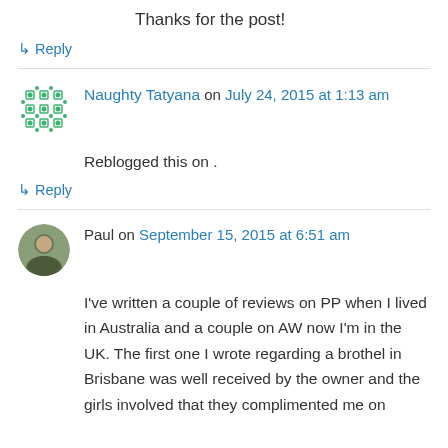Thanks for the post!
↳ Reply
Naughty Tatyana on July 24, 2015 at 1:13 am
Reblogged this on .
↳ Reply
Paul on September 15, 2015 at 6:51 am
I've written a couple of reviews on PP when I lived in Australia and a couple on AW now I'm in the UK. The first one I wrote regarding a brothel in Brisbane was well received by the owner and the girls involved that they complimented me on